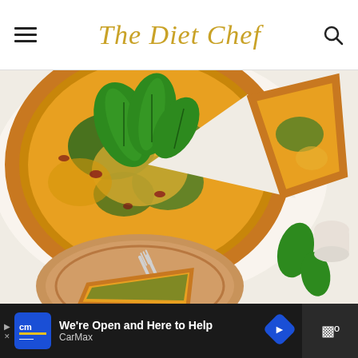The Diet Chef
[Figure (photo): Overhead view of a spinach and egg quiche/tart with a slice removed, placed on white parchment paper. Fresh spinach leaves garnish the top. Below, a wooden plate with a fork and a quiche slice is visible, along with loose spinach leaves on a white marble surface.]
[Figure (infographic): Advertisement bar at the bottom: CarMax logo on blue background, text 'We're Open and Here to Help' and 'CarMax' in white, with a blue navigation arrow icon. Right side shows a partial weather widget on dark background.]